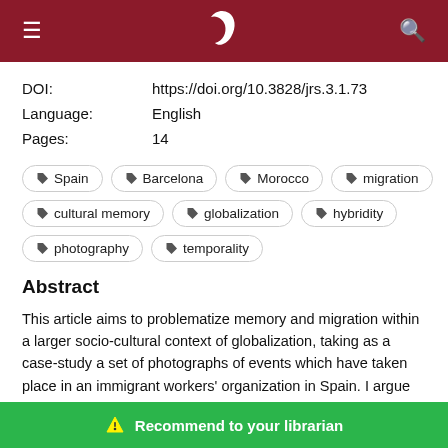≡ [logo] 🔍
| DOI: | https://doi.org/10.3828/jrs.3.1.73 |
| Language: | English |
| Pages: | 14 |
Spain
Barcelona
Morocco
migration
cultural memory
globalization
hybridity
photography
temporality
Abstract
This article aims to problematize memory and migration within a larger socio-cultural context of globalization, taking as a case-study a set of photographs of events which have taken place in an immigrant workers' organization in Spain. I argue that migrant experiences of transnational displacement can cause cultural memory as a process to be resignified in subaltern bids for empow[erment. The] photograph, as a trace o[f the past, as a] multi-referential fragment, both reflects and obscures the
Recommend to your librarian